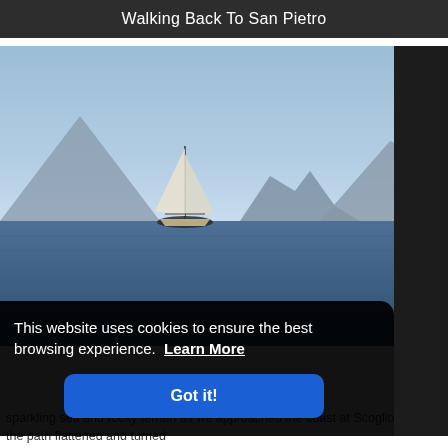Walking Back To San Pietro
[Figure (photo): A sailboat on a calm blue sea with volcanic island silhouettes in the background under a hazy blue sky.]
This website uses cookies to ensure the best browsing experience. Learn More
Got it!
sparkling sea and rocky terrain as we approached the coast at Scoglio la Losa, the path flattened and turned